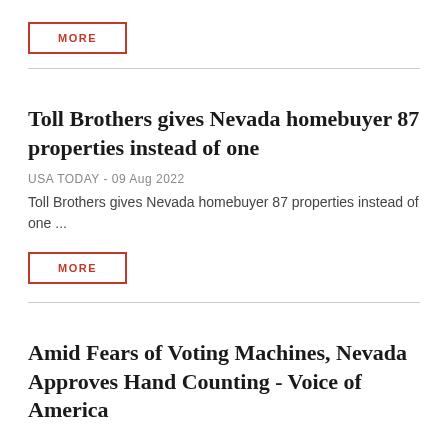MORE
Toll Brothers gives Nevada homebuyer 87 properties instead of one
USA TODAY - 09 Aug 2022
Toll Brothers gives Nevada homebuyer 87 properties instead of one ...
MORE
Amid Fears of Voting Machines, Nevada Approves Hand Counting - Voice of America